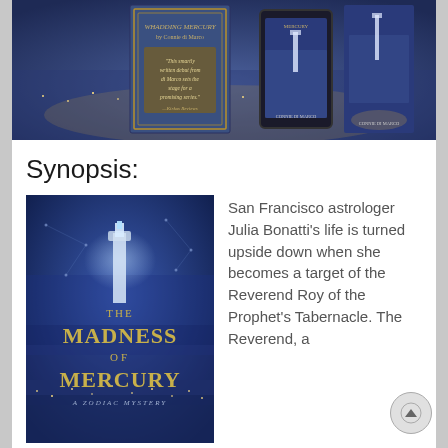[Figure (photo): Banner image showing book covers for 'The Madness of Mercury' by Connie di Marco — a physical book, tablet/e-reader, and hardcover spine — against a blue cityscape background with a quote: 'This smartly written debut from di Marco sets the stage for a promising series.' — Kirkus Reviews]
Synopsis:
[Figure (photo): Book cover for 'The Madness of Mercury — A Zodiac Mystery' by Connie di Marco, showing a dark blue atmospheric cityscape with Coit Tower lit up in the fog, gold title lettering]
San Francisco astrologer Julia Bonatti's life is turned upside down when she becomes a target of the Reverend Roy of the Prophet's Tabernacle. The Reverend, a